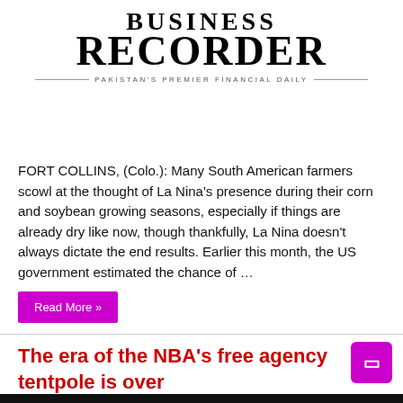BUSINESS RECORDER — PAKISTAN'S PREMIER FINANCIAL DAILY
FORT COLLINS, (Colo.): Many South American farmers scowl at the thought of La Nina's presence during their corn and soybean growing seasons, especially if things are already dry like now, though thankfully, La Nina doesn't always dictate the end results. Earlier this month, the US government estimated the chance of …
Read More »
The era of the NBA's free agency tentpole is over
August 27, 2021   Mounts bay   0